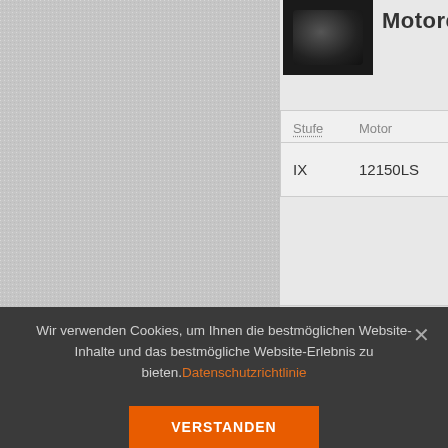Motoren
| Stufe | Motor |
| --- | --- |
| IX | 12150LS |
Suspensions
Wir verwenden Cookies, um Ihnen die bestmöglichen Website-Inhalte und das bestmögliche Website-Erlebnis zu bieten. Datenschutzrichtlinie
VERSTANDEN